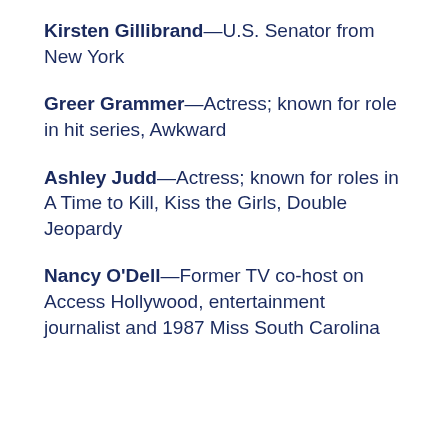Kirsten Gillibrand—U.S. Senator from New York
Greer Grammer—Actress; known for role in hit series, Awkward
Ashley Judd—Actress; known for roles in A Time to Kill, Kiss the Girls, Double Jeopardy
Nancy O'Dell—Former TV co-host on Access Hollywood, entertainment journalist and 1987 Miss South Carolina